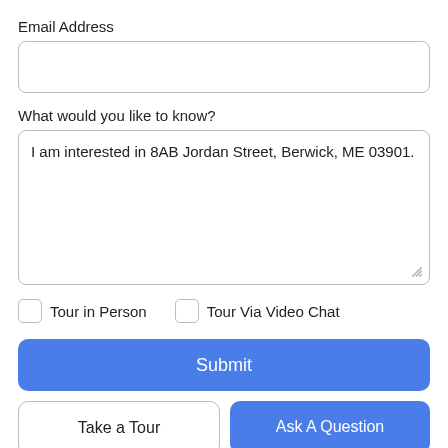Email Address
What would you like to know?
I am interested in 8AB Jordan Street, Berwick, ME 03901.
Tour in Person
Tour Via Video Chat
Submit
Take a Tour
Ask A Question
phone, text message and email about your inquiry